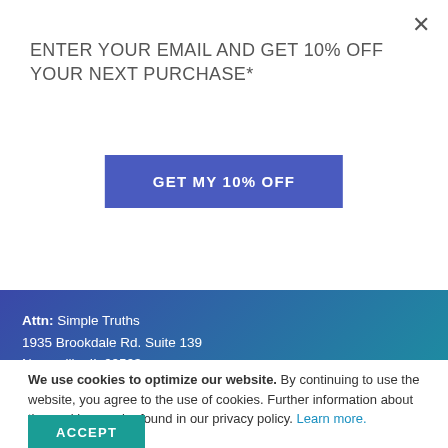×
ENTER YOUR EMAIL AND GET 10% OFF YOUR NEXT PURCHASE*
GET MY 10% OFF
Attn: Simple Truths
1935 Brookdale Rd. Suite 139
Naperville, IL 60563

Toll free: +1 800 900 3427

Email us
CONNECT WITH US
We use cookies to optimize our website. By continuing to use the website, you agree to the use of cookies. Further information about the cookies can be found in our privacy policy. Learn more.
ACCEPT